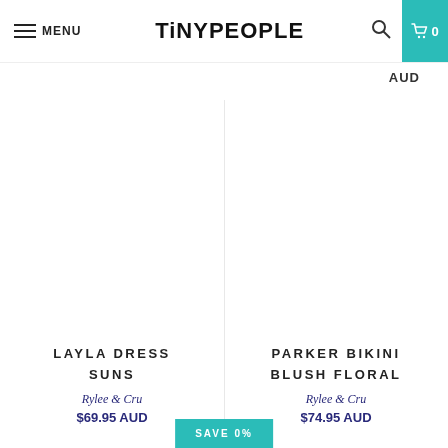MENU | TINYPEOPLE | AUD | 0
AUD
LAYLA DRESS SUNS
Rylee & Cru
$69.95 AUD
PARKER BIKINI BLUSH FLORAL
Rylee & Cru
$74.95 AUD
SAVE 0%